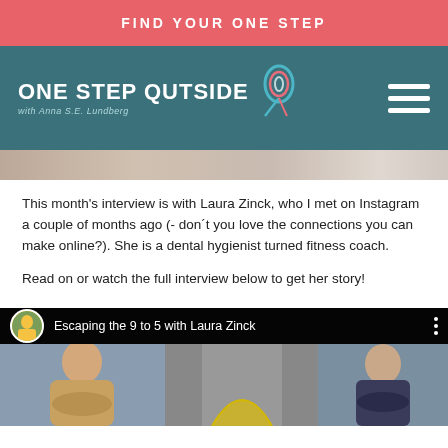FIND YOUR ONE STEP
[Figure (logo): One Step Outside logo with teal background, text 'ONE STEP OUTSIDE with Anna S.E. Lundberg' and decorative swirl icon, plus hamburger menu icon]
[Figure (photo): Partial hero image strip showing a person or scene, cropped at top of content area]
This month’s interview is with Laura Zinck, who I met on Instagram a couple of months ago (- don´t you love the connections you can make online?). She is a dental hygienist turned fitness coach.
Read on or watch the full interview below to get her story!
[Figure (screenshot): YouTube video embed showing 'Escaping the 9 to 5 with Laura Zinck' with avatar thumbnail, video title text, and preview showing two people]